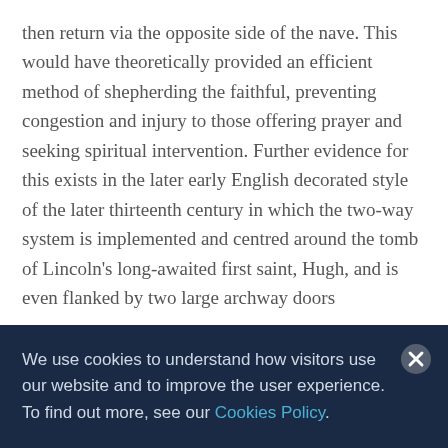then return via the opposite side of the nave. This would have theoretically provided an efficient method of shepherding the faithful, preventing congestion and injury to those offering prayer and seeking spiritual intervention. Further evidence for this exists in the later early English decorated style of the later thirteenth century in which the two-way system is implemented and centred around the tomb of Lincoln's long-awaited first saint, Hugh, and is even flanked by two large archway doors
We use cookies to understand how visitors use our website and to improve the user experience. To find out more, see our Cookies Policy.